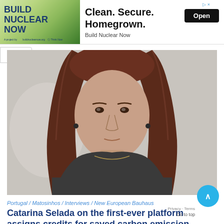[Figure (infographic): Advertisement banner for 'Build Nuclear Now' with text: Clean. Secure. Homegrown. Build Nuclear Now. Open button.]
[Figure (photo): Portrait photo of a woman with long dark reddish-brown hair, wearing a dark top, against a light background. This is Catarina Selada.]
Portugal / Matosinhos / Interviews / New European Bauhaus
Catarina Selada on the first-ever platform assigns credits for saved carbon emissions